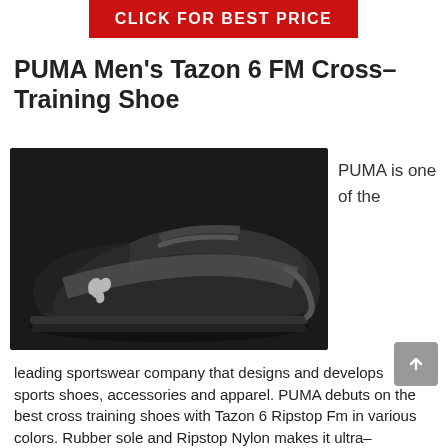[Figure (other): Red banner button with white text: CLICK FOR BEST PRICE]
PUMA Men's Tazon 6 FM Cross-Training Shoe
[Figure (photo): Black PUMA Tazon 6 FM cross-training shoe shown from the side against a dark background, with PUMA logo visible]
PUMA is one of the
leading sportswear company that designs and develops sports shoes, accessories and apparel. PUMA debuts on the best cross training shoes with Tazon 6 Ripstop Fm in various colors. Rubber sole and Ripstop Nylon makes it ultra-comfortable cross-training shoe, you will ever put on. Buyers have found it good for both medium and high arch feet. And its sole is designed for running in various environments it